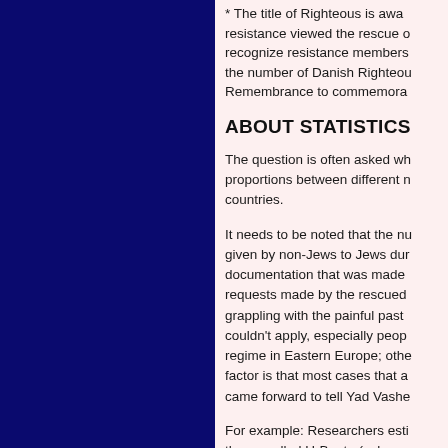* The title of Righteous is awa... resistance viewed the rescue c... recognize resistance members... the number of Danish Righteou... Remembrance to commemora...
ABOUT STATISTICS
The question is often asked wh... proportions between different n... countries.
It needs to be noted that the nu... given by non-Jews to Jews dur... documentation that was made ... requests made by the rescued... grappling with the painful past... couldn't apply, especially peop... regime in Eastern Europe; othe... factor is that most cases that a... came forward to tell Yad Vashe...
For example: Researchers esti... the so-called U-Boote (submar... rather than be deported. Only a...